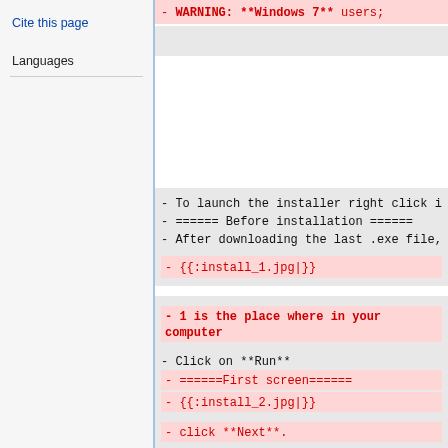Cite this page
Languages
- WARNING:  **Windows 7** users;
- To launch the installer right click i
- ====== Before installation ======
- After downloading the last .exe file,
- {{:install_1.jpg|}}
- 1 is the place where in your computer
- Click on **Run**
- ======First screen======
- {{:install_2.jpg|}}
- click **Next**.